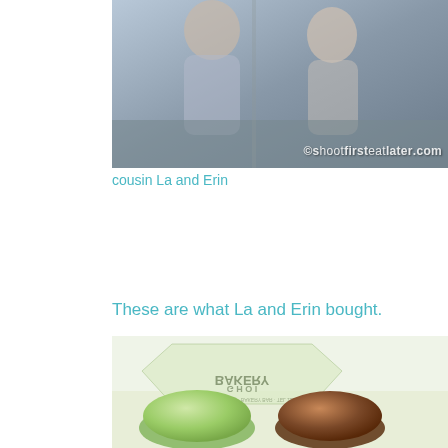[Figure (photo): Photo of cousin La and Erin sitting together, with watermark ©shootfirsteatlater.com in bottom right corner]
cousin La and Erin
These are what La and Erin bought.
[Figure (photo): Photo of two macarons (one green, one brown/chocolate) on a bakery tissue paper with BAKERY text visible through the tissue]